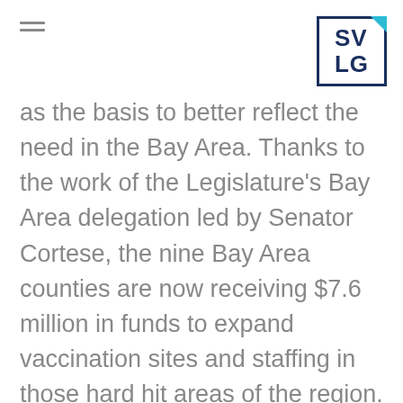[hamburger menu] [SVLG logo]
as the basis to better reflect the need in the Bay Area. Thanks to the work of the Legislature's Bay Area delegation led by Senator Cortese, the nine Bay Area counties are now receiving $7.6 million in funds to expand vaccination sites and staffing in those hard hit areas of the region. While there is still a push from Bay Area advocates for the formula to use census tracts, the funding will help get vaccines to the hardest hit communities.
By clicking “Accept All Cookies”, you agree to the storing of cookies on your device to enhance site navigation, analyze site usage, and assist in our marketing efforts.